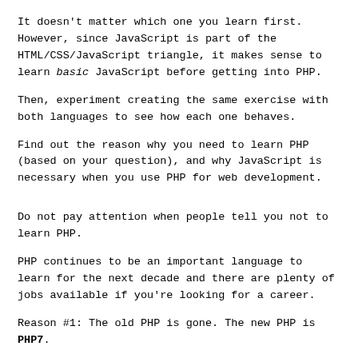It doesn't matter which one you learn first. However, since JavaScript is part of the HTML/CSS/JavaScript triangle, it makes sense to learn basic JavaScript before getting into PHP.
Then, experiment creating the same exercise with both languages to see how each one behaves.
Find out the reason why you need to learn PHP (based on your question), and why JavaScript is necessary when you use PHP for web development.
Do not pay attention when people tell you not to learn PHP.
PHP continues to be an important language to learn for the next decade and there are plenty of jobs available if you're looking for a career.
Reason #1: The old PHP is gone. The new PHP is PHP7.